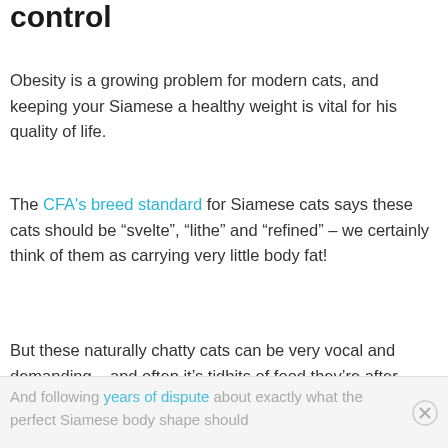control
Obesity is a growing problem for modern cats, and keeping your Siamese a healthy weight is vital for his quality of life.
The CFA's breed standard for Siamese cats says these cats should be “svelte”, “lithe” and “refined” – we certainly think of them as carrying very little body fat!
But these naturally chatty cats can be very vocal and demanding – and often it’s tidbits of food they’re after.
And following years of dispute about exactly what the perfect Siamese body shape should